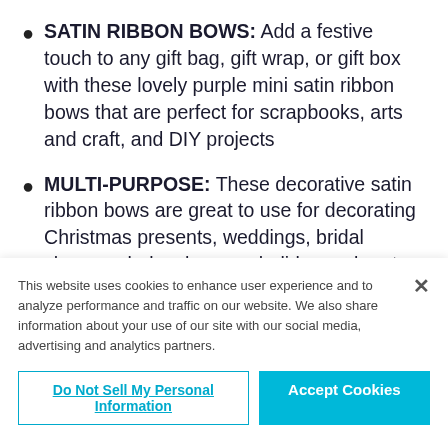SATIN RIBBON BOWS: Add a festive touch to any gift bag, gift wrap, or gift box with these lovely purple mini satin ribbon bows that are perfect for scrapbooks, arts and craft, and DIY projects
MULTI-PURPOSE: These decorative satin ribbon bows are great to use for decorating Christmas presents, weddings, bridal showers, baby showers, holiday and party decorations, treat
This website uses cookies to enhance user experience and to analyze performance and traffic on our website. We also share information about your use of our site with our social media, advertising and analytics partners.
Do Not Sell My Personal Information
Accept Cookies